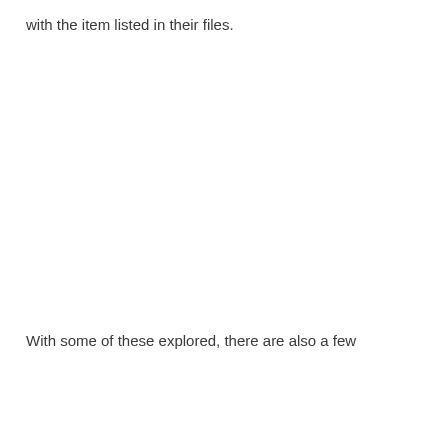with the item listed in their files.
With some of these explored, there are also a few